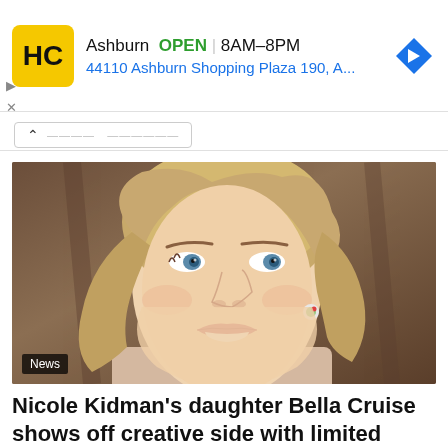[Figure (infographic): HC (Honest Checkup) advertisement banner showing Ashburn location, OPEN status, hours 8AM-8PM, address 44110 Ashburn Shopping Plaza 190, A..., with yellow logo and blue navigation arrow icon]
[Figure (photo): Close-up photo of a blonde woman (Nicole Kidman) looking to the side, with blurred brown wooden background. She has blue eyes, is wearing a small floral earring, and is smiling slightly. A 'News' badge appears in the bottom left of the image.]
Nicole Kidman's daughter Bella Cruise shows off creative side with limited edition collaboration